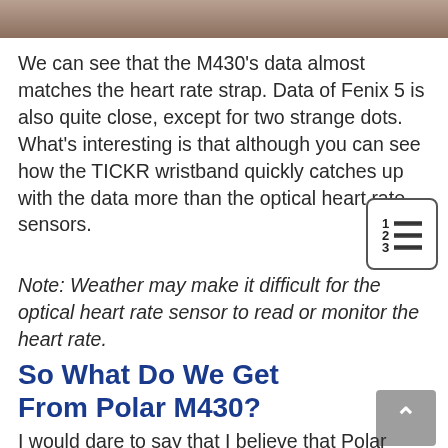[Figure (photo): Cropped photo bar at top of page showing brown/tan colors, likely outdoor scene]
We can see that the M430’s data almost matches the heart rate strap. Data of Fenix 5 is also quite close, except for two strange dots. What’s interesting is that although you can see how the TICKR wristband quickly catches up with the data more than the optical heart rate sensors.
[Figure (other): Table of contents icon with numbered list lines]
Note: Weather may make it difficult for the optical heart rate sensor to read or monitor the heart rate.
So What Do We Get From Polar M430?
[Figure (other): Scroll to top button, grey square with upward chevron arrow]
I would dare to say that I believe that Polar